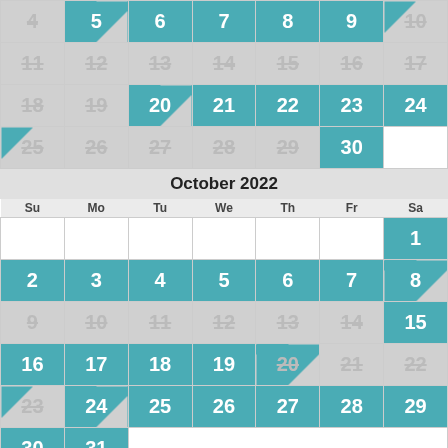| Su | Mo | Tu | We | Th | Fr | Sa |
| --- | --- | --- | --- | --- | --- | --- |
| 4 | 5 | 6 | 7 | 8 | 9 | 10 |
| 11 | 12 | 13 | 14 | 15 | 16 | 17 |
| 18 | 19 | 20 | 21 | 22 | 23 | 24 |
| 25 | 26 | 27 | 28 | 29 | 30 |  |
October 2022
| Su | Mo | Tu | We | Th | Fr | Sa |
| --- | --- | --- | --- | --- | --- | --- |
|  |  |  |  |  |  | 1 |
| 2 | 3 | 4 | 5 | 6 | 7 | 8 |
| 9 | 10 | 11 | 12 | 13 | 14 | 15 |
| 16 | 17 | 18 | 19 | 20 | 21 | 22 |
| 23 | 24 | 25 | 26 | 27 | 28 | 29 |
| 30 | 31 |  |  |  |  |  |
November 2022